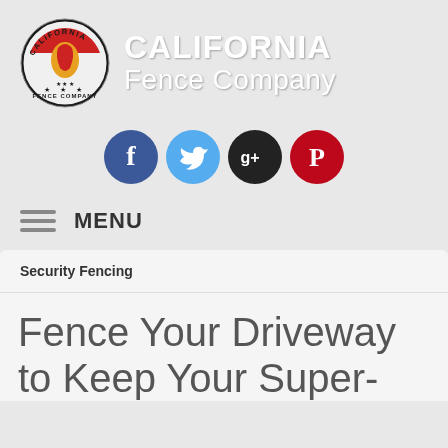[Figure (logo): California Fence Company circular logo with red, yellow, and black design featuring California state shape and stars]
CALIFORNIA Fence Company
[Figure (infographic): Row of four social media icons: Facebook (blue circle with f), Twitter (light blue circle with bird), Google+ (dark circle with g+), Pinterest (red circle with P)]
MENU
Security Fencing
Fence Your Driveway to Keep Your Super-